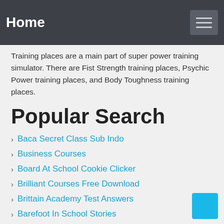Home
Training places are a main part of super power training simulator. There are Fist Strength training places, Psychic Power training places, and Body Toughness training places.
Popular Search
Baca Secret Class Sub Indo
Business Courses
Board At School Cookie Clicker
Brilliant Courses Free Download
Brittain Academy Test Answers
Barefoot In School Stories
Business Studies Class 12 Pdf